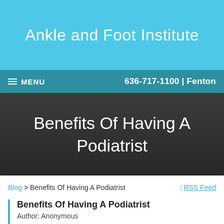Ankle and Foot Institute
MENU | 636-717-1100 | Fenton
Benefits Of Having A Podiatrist
Blog > Benefits Of Having A Podiatrist
RSS Feed
Benefits Of Having A Podiatrist
Author: Anonymous